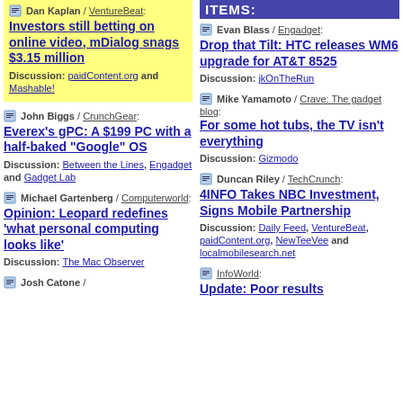ITEMS:
Dan Kaplan / VentureBeat: Investors still betting on online video, mDialog snags $3.15 million Discussion: paidContent.org and Mashable!
John Biggs / CrunchGear: Everex's gPC: A $199 PC with a half-baked "Google" OS Discussion: Between the Lines, Engadget and Gadget Lab
Michael Gartenberg / Computerworld: Opinion: Leopard redefines 'what personal computing looks like' Discussion: The Mac Observer
Josh Catone / ...
Evan Blass / Engadget: Drop that Tilt: HTC releases WM6 upgrade for AT&T 8525 Discussion: jkOnTheRun
Mike Yamamoto / Crave: The gadget blog: For some hot tubs, the TV isn't everything Discussion: Gizmodo
Duncan Riley / TechCrunch: 4INFO Takes NBC Investment, Signs Mobile Partnership Discussion: Daily Feed, VentureBeat, paidContent.org, NewTeeVee and localmobilesearch.net
InfoWorld: Update: Poor results